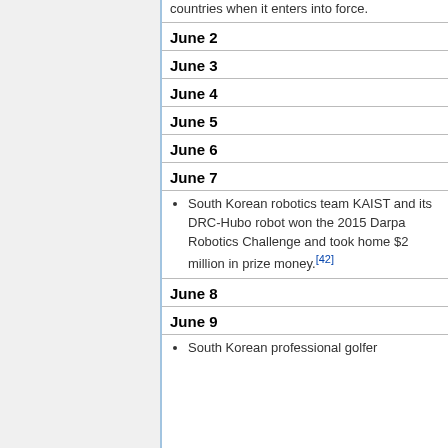countries when it enters into force.
June 2
June 3
June 4
June 5
June 6
June 7
South Korean robotics team KAIST and its DRC-Hubo robot won the 2015 Darpa Robotics Challenge and took home $2 million in prize money.[42]
June 8
June 9
South Korean professional golfer